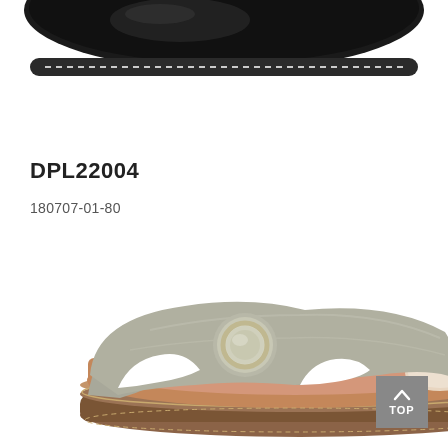[Figure (photo): Partial view of a dark/black shoe sole and upper from above, cropped at top of page]
DPL22004
180707-01-80
[Figure (photo): Gray/sage leather flat slide sandal with circular metallic buckle detail, brown insole, tan outsole with gold stitching, viewed from side angle on white background]
TOP